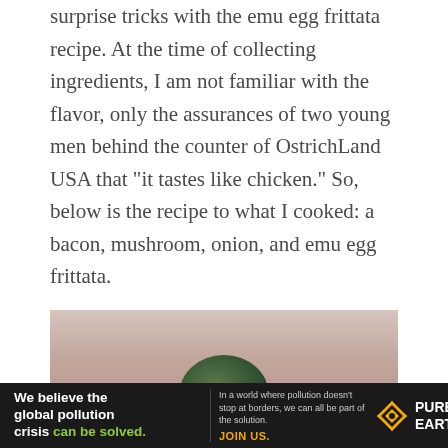surprise tricks with the emu egg frittata recipe. At the time of collecting ingredients, I am not familiar with the flavor, only the assurances of two young men behind the counter of OstrichLand USA that "it tastes like chicken." So, below is the recipe to what I cooked: a bacon, mushroom, onion, and emu egg frittata.
[Figure (photo): Close-up photo of a large dark green emu egg resting on a blurred pinkish-beige wooden surface background.]
[Figure (infographic): Pure Earth advertisement banner. Left: 'We believe the global pollution crisis can be solved.' Middle: 'In a world where pollution doesn't stop at borders, we can all be part of the solution. JOIN US.' Right: Pure Earth logo with diamond/hazard icon.]